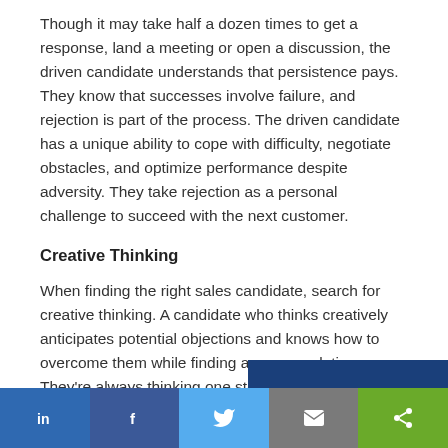Though it may take half a dozen times to get a response, land a meeting or open a discussion, the driven candidate understands that persistence pays. They know that successes involve failure, and rejection is part of the process. The driven candidate has a unique ability to cope with difficulty, negotiate obstacles, and optimize performance despite adversity. They take rejection as a personal challenge to succeed with the next customer.
Creative Thinking
When finding the right sales candidate, search for creative thinking. A candidate who thinks creatively anticipates potential objections and knows how to overcome them while finding a proper solution. They're always thinking one step ahe…
[Figure (other): Social sharing bar with LinkedIn, Facebook, Twitter, Email, and Share buttons]